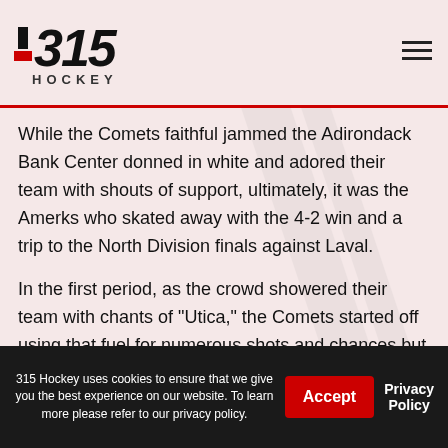J315 HOCKEY
While the Comets faithful jammed the Adirondack Bank Center donned in white and adored their team with shouts of support, ultimately, it was the Amerks who skated away with the 4-2 win and a trip to the North Division finals against Laval.
In the first period, as the crowd showered their team with chants of "Utica," the Comets started off using that fuel for numerous shots and chances but Rochester goalie Aaron Dell settled in and held the fort. That allowed for a point shot from Casey Fitzgerald at 10:32 that found its way through traffic over the blocking shoulder of Comets netminder
315 Hockey uses cookies to ensure that we give you the best experience on our website. To learn more please refer to our privacy policy.  Accept  Privacy Policy